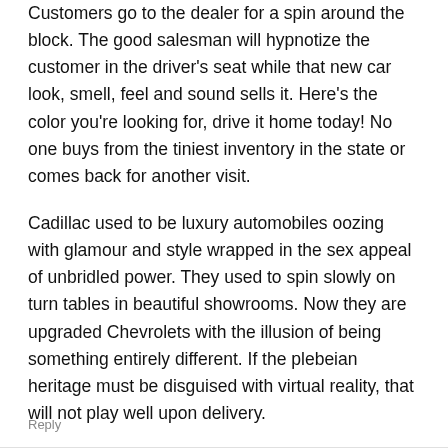Customers go to the dealer for a spin around the block. The good salesman will hypnotize the customer in the driver's seat while that new car look, smell, feel and sound sells it. Here's the color you're looking for, drive it home today! No one buys from the tiniest inventory in the state or comes back for another visit.
Cadillac used to be luxury automobiles oozing with glamour and style wrapped in the sex appeal of unbridled power. They used to spin slowly on turn tables in beautiful showrooms. Now they are upgraded Chevrolets with the illusion of being something entirely different. If the plebeian heritage must be disguised with virtual reality, that will not play well upon delivery.
Reply